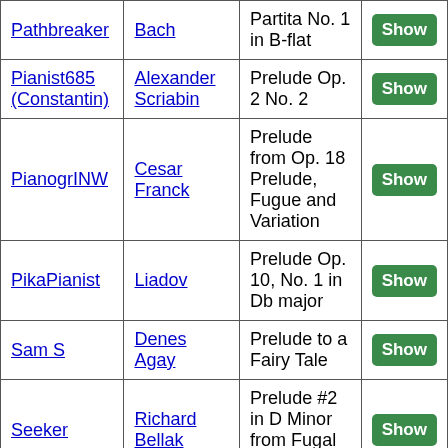| User | Composer | Piece |  |
| --- | --- | --- | --- |
| Pathbreaker | Bach | Partita No. 1 in B-flat | Show |
| Pianist685 (Constantin) | Alexander Scriabin | Prelude Op. 2 No. 2 | Show |
| PianogrINW | Cesar Franck | Prelude from Op. 18 Prelude, Fugue and Variation | Show |
| PikaPianist | Liadov | Prelude Op. 10, No. 1 in Db major | Show |
| Sam S | Denes Agay | Prelude to a Fairy Tale | Show |
| Seeker | Richard Bellak | Prelude #2 in D Minor from Fugal Dreams | Show |
| selfishplayer | johann sebastian | English Suite | Show |